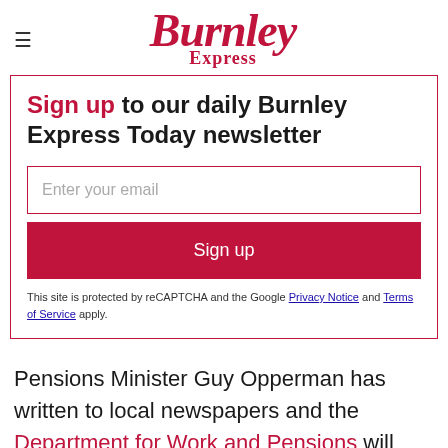Burnley Express
Sign up to our daily Burnley Express Today newsletter
Enter your email
Sign up
This site is protected by reCAPTCHA and the Google Privacy Notice and Terms of Service apply.
Pensions Minister Guy Opperman has written to local newspapers and the Department for Work and Pensions will send leaflets to 11 million pensioners.